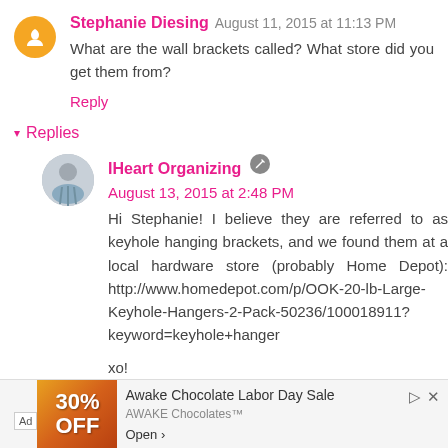Stephanie Diesing August 11, 2015 at 11:13 PM
What are the wall brackets called? What store did you get them from?
Reply
Replies
IHeart Organizing August 13, 2015 at 2:48 PM
Hi Stephanie! I believe they are referred to as keyhole hanging brackets, and we found them at a local hardware store (probably Home Depot): http://www.homedepot.com/p/OOK-20-lb-Large-Keyhole-Hangers-2-Pack-50236/100018911?keyword=keyhole+hanger
xo!
Ad Awake Chocolate Labor Day Sale AWAKE Chocolates™ Open